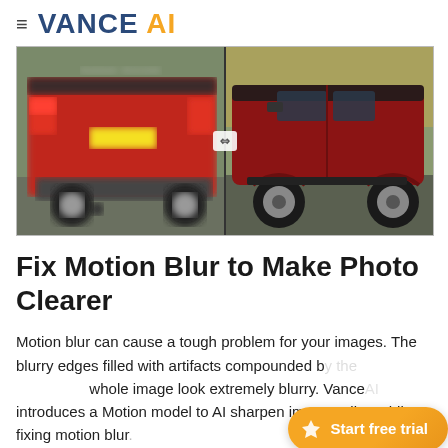≡ VANCE AI
[Figure (photo): Split comparison image of a red Range Rover SUV: left half shows blurry rear view, right half shows sharp side/rear view. A split divider with resize icon is in the center.]
Fix Motion Blur to Make Photo Clearer
Motion blur can cause a tough problem for your images. The blurry edges filled with artifacts compounded b... whole image look extremely blurry. Vance... introduces a Motion model to AI sharpen image online while fixing motion blur...